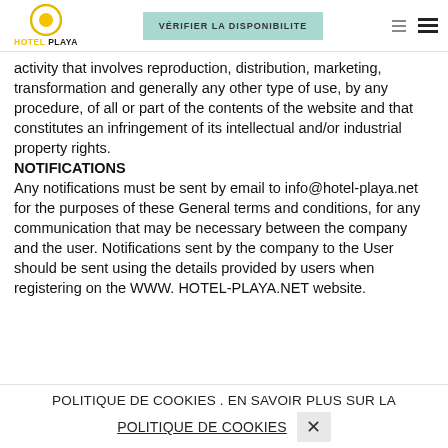HOTEL PLAYA | VÉRIFIER LA DISPONIBILITE
activity that involves reproduction, distribution, marketing, transformation and generally any other type of use, by any procedure, of all or part of the contents of the website and that constitutes an infringement of its intellectual and/or industrial property rights.
NOTIFICATIONS
Any notifications must be sent by email to info@hotel-playa.net for the purposes of these General terms and conditions, for any communication that may be necessary between the company and the user. Notifications sent by the company to the User should be sent using the details provided by users when registering on the WWW. HOTEL-PLAYA.NET website.
POLITIQUE DE COOKIES . EN SAVOIR PLUS SUR LA POLITIQUE DE COOKIES ✕